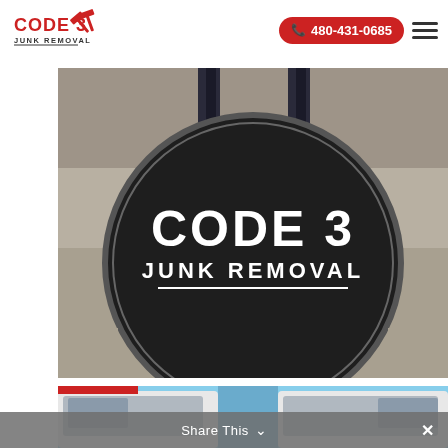[Figure (logo): Code 3 Junk Removal logo with red text and hammer icons]
📞 480-431-0685
[Figure (photo): Code 3 Junk Removal branded circle logo on concrete background with two people visible at top]
[Figure (photo): Two white junk removal trucks parked side by side]
Share This